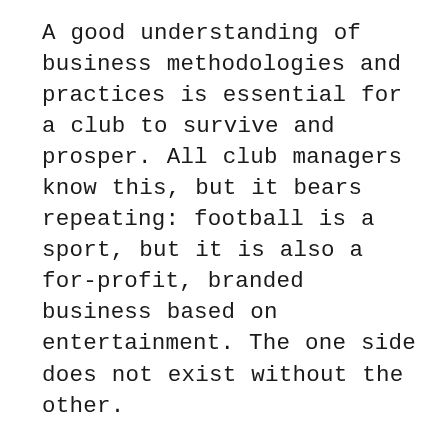A good understanding of business methodologies and practices is essential for a club to survive and prosper. All club managers know this, but it bears repeating: football is a sport, but it is also a for-profit, branded business based on entertainment. The one side does not exist without the other.
This is clearly evident when you think of professional football today. Just look at the news, the TV, the internet. World renowned clubs, owned by wealthy patrons, dominate the news cycle with a constant streaming of